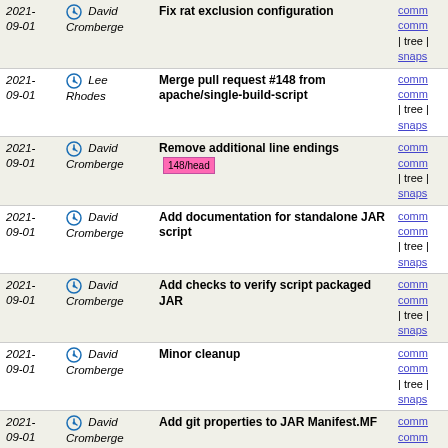| Date | Author | Message | Links |
| --- | --- | --- | --- |
| 2021-09-01 | David Cromberge | Fix rat exclusion configuration | comm
comm
| tree |
snaps |
| 2021-09-01 | Lee Rhodes | Merge pull request #148 from apache/single-build-script | comm
comm
| tree |
snaps |
| 2021-09-01 | David Cromberge | Remove additional line endings [148/head] | comm
comm
| tree |
snaps |
| 2021-09-01 | David Cromberge | Add documentation for standalone JAR script | comm
comm
| tree |
snaps |
| 2021-09-01 | David Cromberge | Add checks to verify script packaged JAR | comm
comm
| tree |
snaps |
| 2021-09-01 | David Cromberge | Minor cleanup | comm
comm
| tree |
snaps |
| 2021-09-01 | David Cromberge | Add git properties to JAR Manifest.MF | comm
comm
| tree |
snaps |
| 2021-09-01 | David Cromberge | Add attribution for version parsing | comm
comm
| tree |
snaps |
| 2021-09-01 | David Cromberge | Rename JavaHome to JDKHome | comm
comm
| tree |
snaps |
| 2021-09-01 | David Cromberge | Rename Version to GitTag | comm
comm
| tree |
snaps |
| 2021- | David | Move scripts to tools directory | comm |